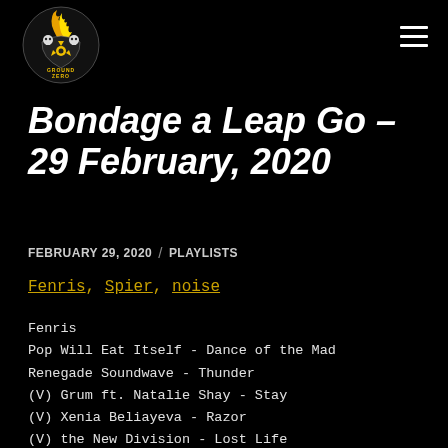[Figure (logo): Ground Zero logo with radioactive skull and flames, circular badge in yellow and white on black background]
Bondage a Leap Go – 29 February, 2020
FEBRUARY 29, 2020  /  PLAYLISTS
Fenris, Spier, noise
Fenris
Pop Will Eat Itself - Dance of the Mad
Renegade Soundwave - Thunder
(V) Grum ft. Natalie Shay - Stay
(V) Xenia Beliayeva - Razor
(V) the New Division - Lost Life
(V) Tandem - ...